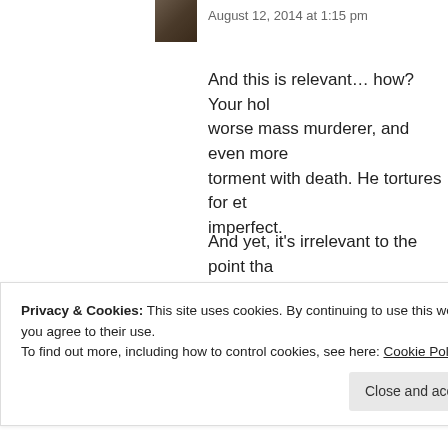[Figure (photo): Small avatar thumbnail of a person's face]
August 12, 2014 at 1:15 pm
And this is relevant… how? Your hol worse mass murderer, and even more torment with death. He tortures for et imperfect.
And yet, it's irrelevant to the point tha what religion is true, or what god eve will have differing opinions on the to something is obvious.
[Figure (photo): Small avatar thumbnail of a military/soldier figure]
silenceofmind says:
Privacy & Cookies: This site uses cookies. By continuing to use this website, you agree to their use.
To find out more, including how to control cookies, see here: Cookie Policy
Close and accept